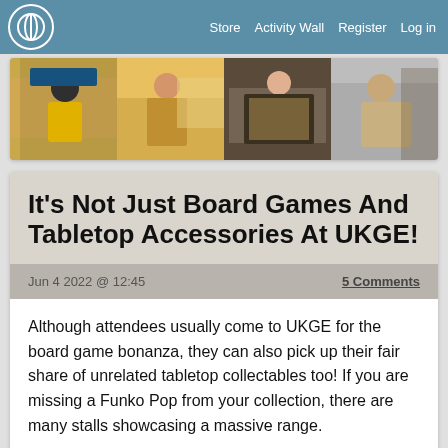Store  Activity Wall  Register  Log in
[Figure (photo): A horizontal strip of four photos showing people at the UKGE board game convention, playing and browsing games at tables.]
It's Not Just Board Games And Tabletop Accessories At UKGE!
Jun 4 2022 @ 12:45   5 Comments
Although attendees usually come to UKGE for the board game bonanza, they can also pick up their fair share of unrelated tabletop collectables too! If you are missing a Funko Pop from your collection, there are many stalls showcasing a massive range.